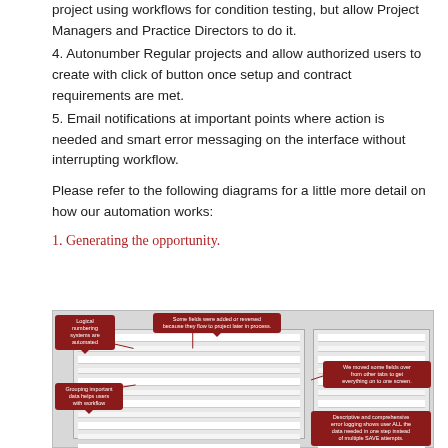project using workflows for condition testing, but allow Project Managers and Practice Directors to do it.
4. Autonumber Regular projects and allow authorized users to create with click of button once setup and contract requirements are met.
5. Email notifications at important points where action is needed and smart error messaging on the interface without interrupting workflow.
Please refer to the following diagrams for a little more detail on how our automation works:
1. Generating the opportunity.
[Figure (screenshot): A screenshot of a software interface showing form fields for generating an opportunity, with multiple red callout bubbles: 'Logical numbering systems are automated', 'Some fields were added or reversed because they flow to project later in process.', 'We moved some fields over from other tabs to get everything on to one screen.', 'Grouping important data helps users with workflow', 'Descriptive and comprehensive error logging shows user ALL the data needed in one step instead of multiple SAVE attempts.']